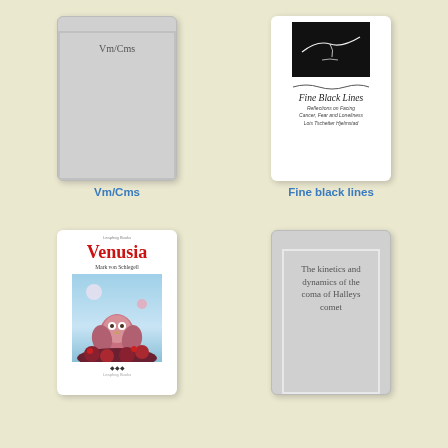[Figure (illustration): Book cover: Vm/Cms - gray placeholder cover with inner border and title text]
Vm/Cms
[Figure (illustration): Book cover: Fine black lines - white cover with black image box at top, cursive title, subtitle text, author name]
Fine black lines
[Figure (illustration): Book cover: Venusia by Mark von Schlegell - white cover with red title, author name, owl illustration]
[Figure (illustration): Book cover: The kinetics and dynamics of the coma of Halleys comet - gray placeholder with inner border and title text]